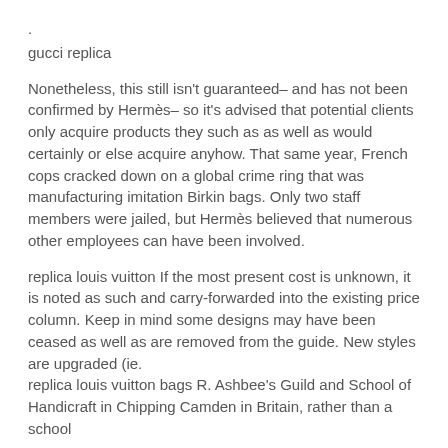.
gucci replica
Nonetheless, this still isn't guaranteed– and has not been confirmed by Hermès– so it's advised that potential clients only acquire products they such as as well as would certainly or else acquire anyhow. That same year, French cops cracked down on a global crime ring that was manufacturing imitation Birkin bags. Only two staff members were jailed, but Hermès believed that numerous other employees can have been involved.
replica louis vuitton If the most present cost is unknown, it is noted as such and carry-forwarded into the existing price column. Keep in mind some designs may have been ceased as well as are removed from the guide. New styles are upgraded (ie.
replica louis vuitton bags R. Ashbee's Guild and School of Handicraft in Chipping Camden in Britain, rather than a school